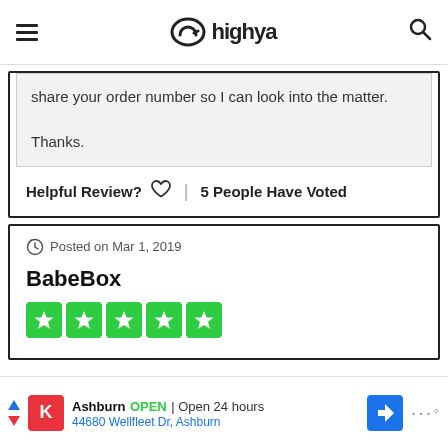highya
share your order number so I can look into the matter.

Thanks.
Helpful Review?  5 People Have Voted
Posted on Mar 1, 2019
BabeBox
[Figure (other): Five green star rating boxes with white stars]
[Figure (other): Advertisement bar: Ashburn OPEN | Open 24 hours, 44680 Wellfleet Dr, Ashburn]